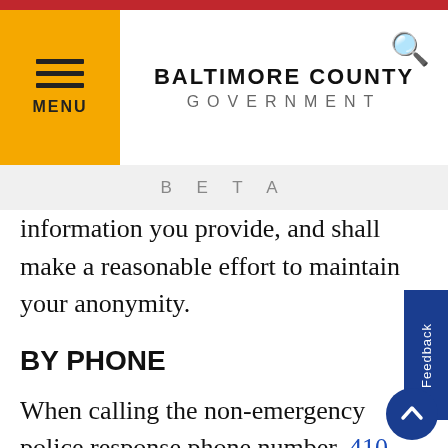BALTIMORE COUNTY GOVERNMENT
BETA
information you provide, and shall make a reasonable effort to maintain your anonymity.
BY PHONE
When calling the non-emergency police response phone number, 410-887-2222, your call will be screened to see if it qualifies for telephone reporting. If your call qualifies, you will be advised that your request meets th criteria for telephone reporting and that you will